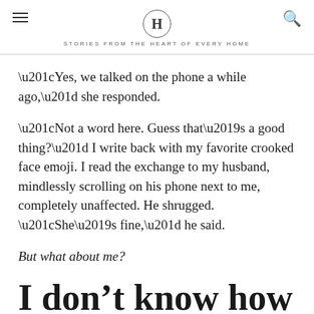H — STORIES FROM THE HEART OF EVERY HOME
“Yes, we talked on the phone a while ago,” she responded.
“Not a word here. Guess that’s a good thing?” I write back with my favorite crooked face emoji. I read the exchange to my husband, mindlessly scrolling on his phone next to me, completely unaffected. He shrugged. “She’s fine,” he said.
But what about me?
I don’t know how to do this part.